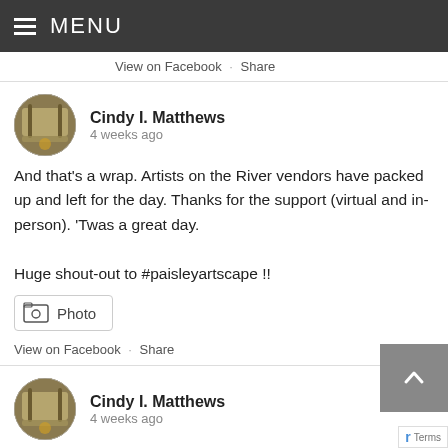MENU
View on Facebook · Share
Cindy I. Matthews
4 weeks ago
And that's a wrap. Artists on the River vendors have packed up and left for the day. Thanks for the support (virtual and in-person). 'Twas a great day.

Huge shout-out to #paisleyartscape !!
[Figure (screenshot): Photo button with image icon]
View on Facebook · Share
Cindy I. Matthews
4 weeks ago
Cindy I. Matthews at Artists on the River 😊